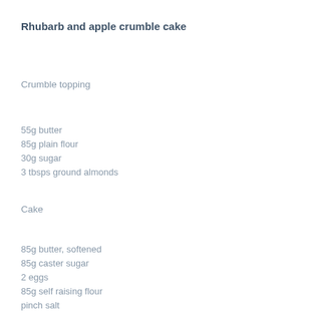Rhubarb and apple crumble cake
Crumble topping
55g butter
85g plain flour
30g sugar
3 tbsps ground almonds
Cake
85g butter, softened
85g caster sugar
2 eggs
85g self raising flour
pinch salt